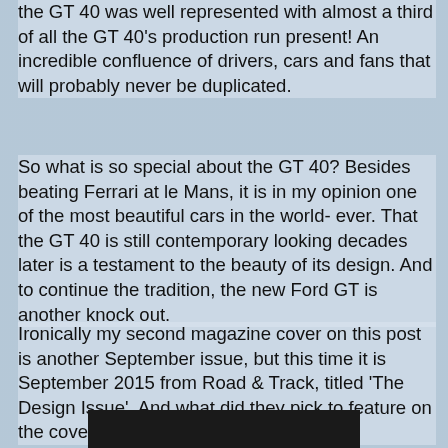the GT 40 was well represented with almost a third of all the GT 40's production run present!  An incredible confluence of drivers, cars and fans that will probably never be duplicated.
So what is so special about the GT 40?  Besides beating Ferrari at le Mans, it is in my opinion one of the most beautiful cars in the world- ever.  That the GT 40 is still contemporary looking decades later is a testament to the beauty of its design. And to continue the tradition, the new Ford GT is another knock out.
Ironically my second magazine cover on this post is another September issue, but this time it is September 2015 from Road & Track, titled 'The Design Issue'.  And what did they pick to feature on the cover?  The new Ford GT
Here's some pictures and links to some really great videos about the Ford GT 40.   Be sure to play the videos on the links below- it's worth your time.
[Figure (photo): Dark strip at the bottom of the page representing the bottom edge of a photo]